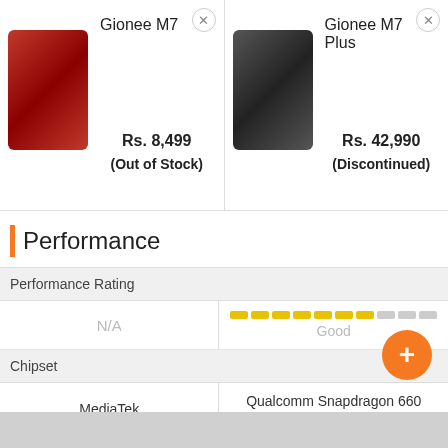[Figure (screenshot): Gionee M7 phone image, red color]
Gionee M7
Rs. 8,499
(Out of Stock)
[Figure (screenshot): Gionee M7 Plus phone image, dark/black color]
Gionee M7 Plus
Rs. 42,990
(Discontinued)
Performance
|  | Gionee M7 | Gionee M7 Plus |
| --- | --- | --- |
| Performance Rating | N/A | Good |
| Chipset | MediaTek | Qualcomm Snapdragon 660 MSM8956 |
| CPU | Octa core, 2.3 GHz, Cortex A53 | Octa core
2.2 GHz, Quad core, Kry... |